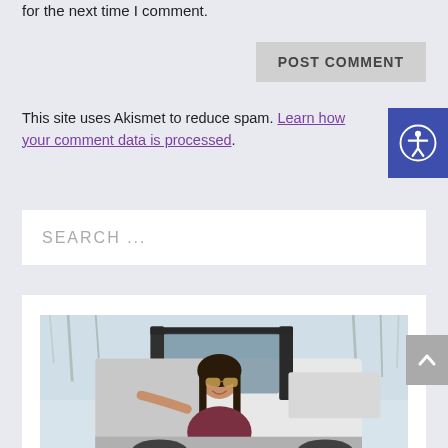for the next time I comment.
POST COMMENT
This site uses Akismet to reduce spam. Learn how your comment data is processed.
SEARCH ...
[Figure (photo): A woman with sunglasses and long dark hair smiling while leaning out of a white open-top off-road vehicle (Jeep-style). Background shows bare winter trees. Photo appears to be taken outdoors.]